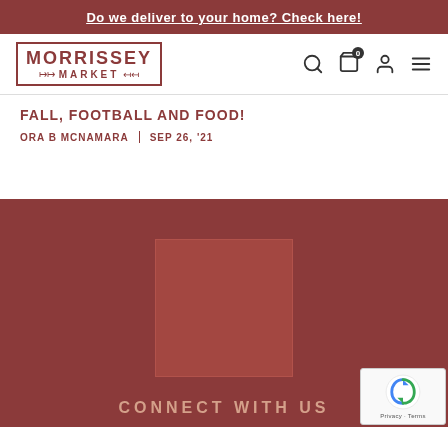Do we deliver to your home? Check here!
[Figure (logo): Morrissey Market logo with border, arrows and market text]
FALL, FOOTBALL AND FOOD!
ORA B MCNAMARA | SEP 26, '21
[Figure (photo): Image placeholder in dark red footer section]
CONNECT WITH US